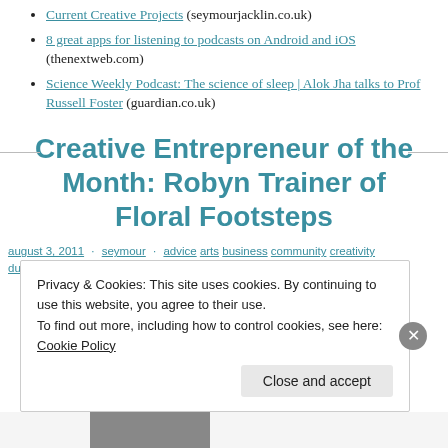Current Creative Projects (seymourjacklin.co.uk)
8 great apps for listening to podcasts on Android and iOS (thenextweb.com)
Science Weekly Podcast: The science of sleep | Alok Jha talks to Prof Russell Foster (guardian.co.uk)
Creative Entrepreneur of the Month: Robyn Trainer of Floral Footsteps
august 3, 2011 · seymour · advice arts business community creativity durham freelancing lifestyle local · 3 comments
Privacy & Cookies: This site uses cookies. By continuing to use this website, you agree to their use. To find out more, including how to control cookies, see here: Cookie Policy